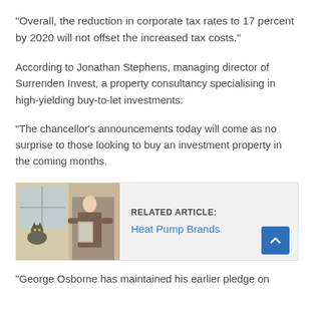“Overall, the reduction in corporate tax rates to 17 percent by 2020 will not offset the increased tax costs.”
According to Jonathan Stephens, managing director of Surrenden Invest, a property consultancy specialising in high-yielding buy-to-let investments:
“The chancellor’s announcements today will come as no surprise to those looking to buy an investment property in the coming months.
[Figure (photo): Photo of a cat on a windowsill next to a person handling items near a radiator or similar appliance]
RELATED ARTICLE: Heat Pump Brands
“George Osborne has maintained his earlier pledge on